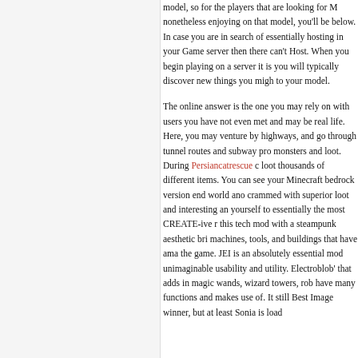model, so for the players that are looking for M nonetheless enjoying on that model, you'll be below. In case you are in search of essentially hosting in your Game server then there can't Host. When you begin playing on a server it is you will typically discover new things you migh to your model.
The online answer is the one you may rely on with users you have not even met and may be real life. Here, you may venture by highways, and go through tunnel routes and subway pro monsters and loot. During Persiancatrescue c loot thousands of different items. You can see your Minecraft bedrock version end world ano crammed with superior loot and interesting an yourself to essentially the most CREATE-ive r this tech mod with a steampunk aesthetic bri machines, tools, and buildings that have ama the game. JEI is an absolutely essential mod unimaginable usability and utility. Electroblob' that adds in magic wands, wizard towers, rob have many functions and makes use of. It still Best Image winner, but at least Sonia is load